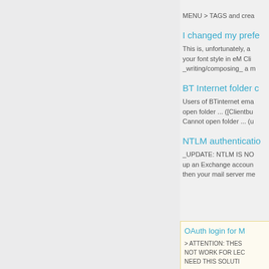MENU > TAGS and crea...
I changed my prefe...
This is, unfortunately, a... your font style in eM Clie... _writing/composing_ a m...
BT Internet folder c...
Users of BTinternet ema... open folder ... ([Clientbu... Cannot open folder ... (u...
NTLM authenticatio...
_UPDATE: NTLM IS NO... up an Exchange accoun... then your mail server me...
OAuth login for M...
> ATTENTION: THES... NOT WORK FOR LEC... NEED THIS SOLUTI...